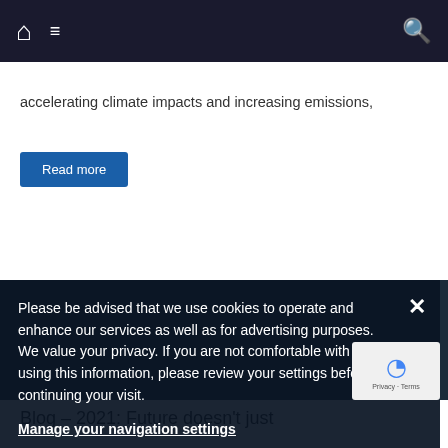Navigation bar with home icon, menu icon, and search icon
accelerating climate impacts and increasing emissions,
Read more
Please be advised that we use cookies to operate and enhance our services as well as for advertising purposes. We value your privacy. If you are not comfortable with us using this information, please review your settings before continuing your visit.
Manage your navigation settings
Find out more
Blog – 2021: Future doesn't just